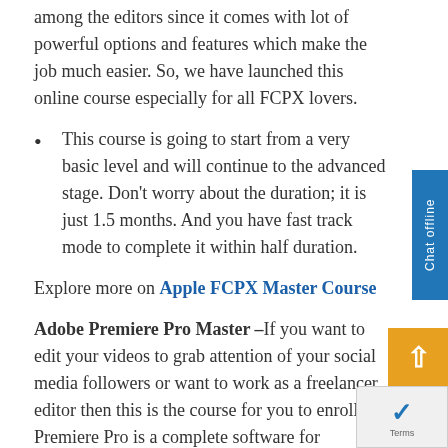among the editors since it comes with lot of powerful options and features which make the job much easier. So, we have launched this online course especially for all FCPX lovers.
This course is going to start from a very basic level and will continue to the advanced stage. Don't worry about the duration; it is just 1.5 months. And you have fast track mode to complete it within half duration.
Explore more on Apple FCPX Master Course
Adobe Premiere Pro Master –If you want to edit your videos to grab attention of your social media followers or want to work as a freelancer editor then this is the course for you to enroll in. Premiere Pro is a complete software for managing and editing video files.
The aim of this sort-term program is to provide clear view of how a video can be edited from starting